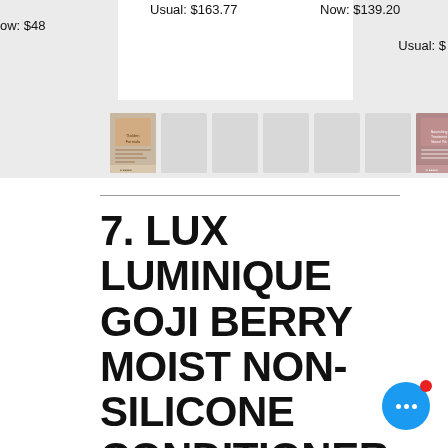ow: $48
Usual: $163.77
Now: $139.20
Usual: $
[Figure (screenshot): Thumbnail images of product books/guides in a carousel row]
7. LUX LUMINIQUE GOJI BERRY MOIST NON-SILICONE CONDITIONER